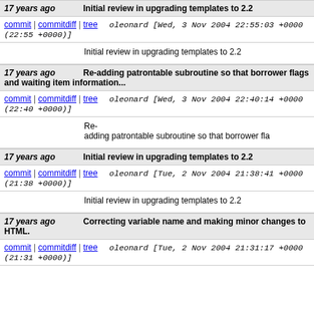17 years ago | Initial review in upgrading templates to 2.2
commit | commitdiff | tree   oleonard [Wed, 3 Nov 2004 22:55:03 +0000 (22:55 +0000)]
Initial review in upgrading templates to 2.2
17 years ago | Re-adding patrontable subroutine so that borrower flags and waiting item information...
commit | commitdiff | tree   oleonard [Wed, 3 Nov 2004 22:40:14 +0000 (22:40 +0000)]
Re-adding patrontable subroutine so that borrower fla
17 years ago | Initial review in upgrading templates to 2.2
commit | commitdiff | tree   oleonard [Tue, 2 Nov 2004 21:38:41 +0000 (21:38 +0000)]
Initial review in upgrading templates to 2.2
17 years ago | Correcting variable name and making minor changes to HTML.
commit | commitdiff | tree   oleonard [Tue, 2 Nov 2004 21:31:17 +0000 (21:31 +0000)]